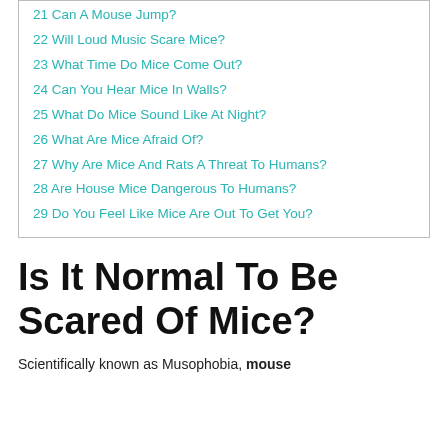21 Can A Mouse Jump?
22 Will Loud Music Scare Mice?
23 What Time Do Mice Come Out?
24 Can You Hear Mice In Walls?
25 What Do Mice Sound Like At Night?
26 What Are Mice Afraid Of?
27 Why Are Mice And Rats A Threat To Humans?
28 Are House Mice Dangerous To Humans?
29 Do You Feel Like Mice Are Out To Get You?
Is It Normal To Be Scared Of Mice?
Scientifically known as Musophobia, mouse